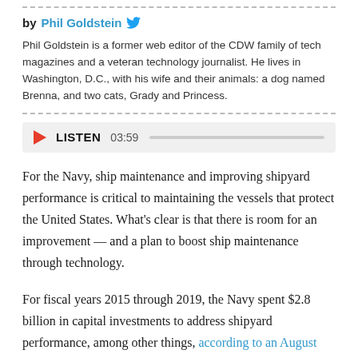by Phil Goldstein [twitter]
Phil Goldstein is a former web editor of the CDW family of tech magazines and a veteran technology journalist. He lives in Washington, D.C., with his wife and their animals: a dog named Brenna, and two cats, Grady and Princess.
LISTEN 03:59 [audio player]
For the Navy, ship maintenance and improving shipyard performance is critical to maintaining the vessels that protect the United States. What's clear is that there is room for an improvement — and a plan to boost ship maintenance through technology.
For fiscal years 2015 through 2019, the Navy spent $2.8 billion in capital investments to address shipyard performance, among other things, according to an August